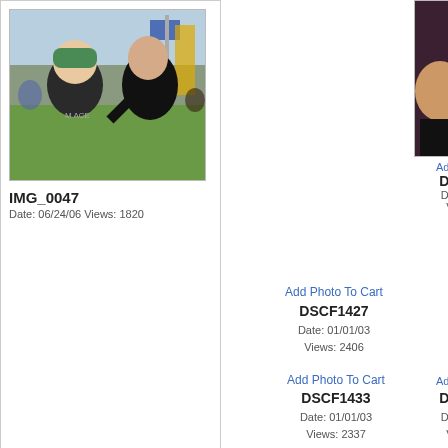72. House DIY Fun
[Figure (photo): Outdoor photo of two young men sitting on grass at what appears to be a festival; one wears a green beanie, another in black shirt gestures; crowd in background]
IMG_0047
Date: 06/24/06 Views: 1820
Add Photo To Cart
DSCF1427
Date: 01/01/03
Views: 2406
[Figure (photo): Close-up selfie of two people, one with sunglasses and curly hair, dark background]
Add Ph
DSC
Date:
Vie
Add Photo To Cart
DSCF1433
Date: 01/01/03
Views: 2337
Add Ph
DSC
Date:
Vie